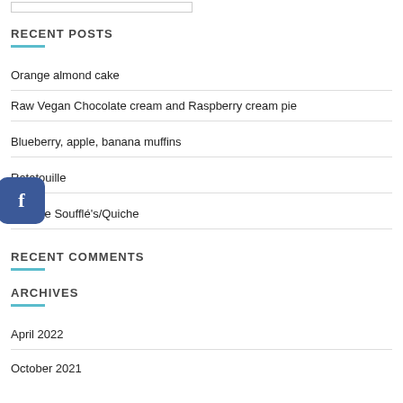RECENT POSTS
Orange almond cake
Raw Vegan Chocolate cream and Raspberry cream pie
Blueberry, apple, banana muffins
Ratatouille
Cheese Soufflé's/Quiche
RECENT COMMENTS
ARCHIVES
April 2022
October 2021